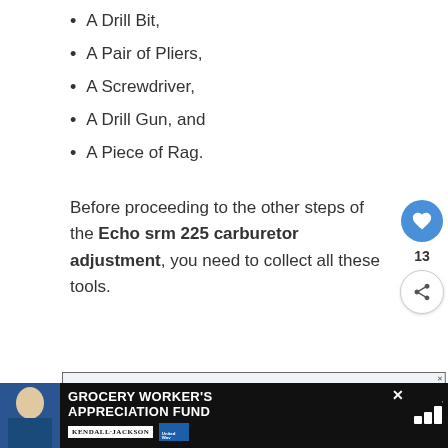A Drill Bit,
A Pair of Pliers,
A Screwdriver,
A Drill Gun, and
A Piece of Rag.
Before proceeding to the other steps of the Echo srm 225 carburetor adjustment, you need to collect all these tools.
[Figure (screenshot): Advertisement banner: 'From Hello to Help, 211 is Here' with close button]
[Figure (screenshot): What's Next sidebar widget with Echo Chainsaw thumbnail]
[Figure (screenshot): Bottom advertisement banner: Grocery Worker's Appreciation Fund with Kendall Jackson and United Way logos]